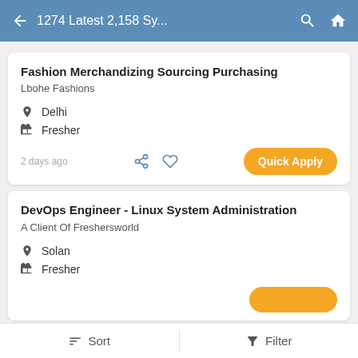1274 Latest 2,158 Sy...
Fashion Merchandizing Sourcing Purchasing
Lbohe Fashions
Delhi
Fresher
2 days ago
DevOps Engineer - Linux System Administration
A Client Of Freshersworld
Solan
Fresher
Sort   Filter